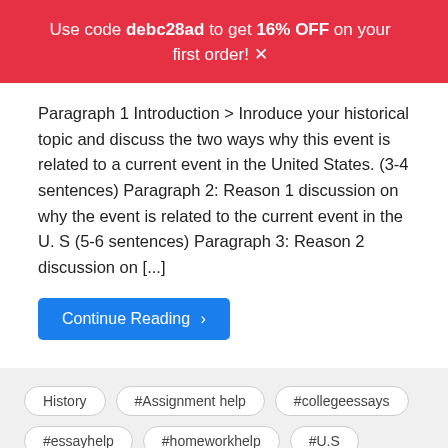Use code debc28ad to get 16% OFF on your first order!
Paragraph 1 Introduction > Inroduce your historical topic and discuss the two ways why this event is related to a current event in the United States. (3-4 sentences) Paragraph 2: Reason 1 discussion on why the event is related to the current event in the U. S (5-6 sentences) Paragraph 3: Reason 2 discussion on [...]
Continue Reading >
History  #Assignment help  #collegeessays  #essayhelp  #homeworkhelp  #U.S  #United States